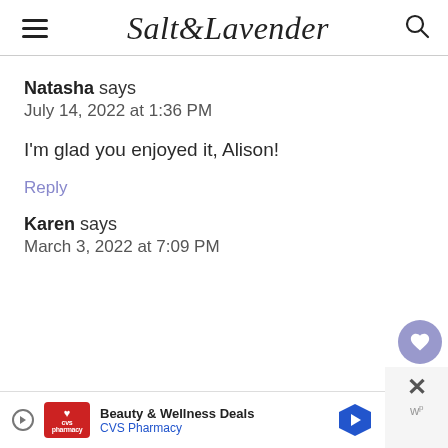Salt & Lavender
Natasha says
July 14, 2022 at 1:36 PM
I'm glad you enjoyed it, Alison!
Reply
Karen says
March 3, 2022 at 7:09 PM